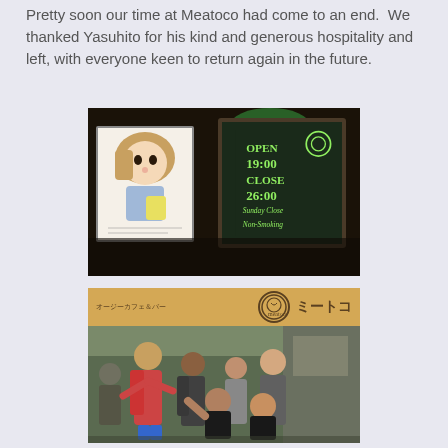Pretty soon our time at Meatoco had come to an end.  We thanked Yasuhito for his kind and generous hospitality and left, with everyone keen to return again in the future.
[Figure (photo): Photo of the Meatoco restaurant sign: a chalkboard listing OPEN 19:00, CLOSE 26:00, Sunday Close, Non-Smoking, next to an anime-style illustration of a girl, with a green decorative element on top.]
[Figure (photo): Photo of a group of people posing in front of the Meatoco restaurant storefront, which has a wooden sign reading the restaurant name in Japanese (ミートコ) with a logo. The group is smiling and making gestures.]